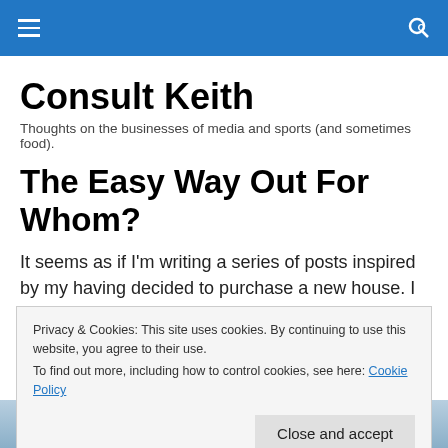☰  🔍
Consult Keith
Thoughts on the businesses of media and sports (and sometimes food).
The Easy Way Out For Whom?
It seems as if I'm writing a series of posts inspired by my having decided to purchase a new house. I guess when
Privacy & Cookies: This site uses cookies. By continuing to use this website, you agree to their use.
To find out more, including how to control cookies, see here: Cookie Policy
Close and accept
[Figure (photo): Partial photo visible at bottom of page]